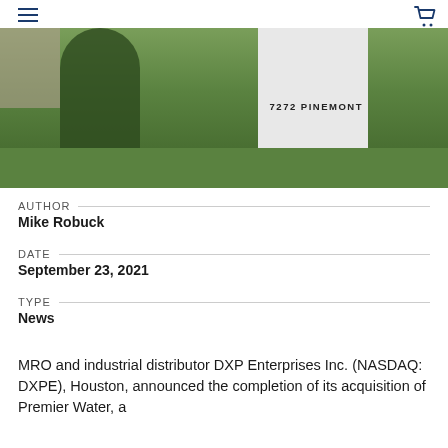≡ [cart icon]
[Figure (photo): Outdoor photo showing a white building sign reading '7272 PINEMONT' surrounded by green lawn and trees]
AUTHOR
Mike Robuck
DATE
September 23, 2021
TYPE
News
MRO and industrial distributor DXP Enterprises Inc. (NASDAQ: DXPE), Houston, announced the completion of its acquisition of Premier Water, a